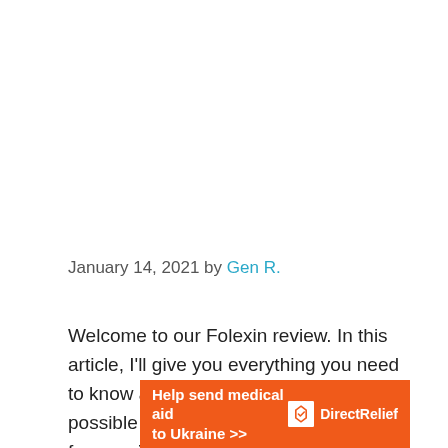January 14, 2021 by Gen R.
Welcome to our Folexin review. In this article, I'll give you everything you need to know about Folexin, its ingredients, possible side effects, and actual reviews from verified users.
[Figure (infographic): Orange banner advertisement reading 'Help send medical aid to Ukraine >>' with DirectRelief logo and name on the right.]